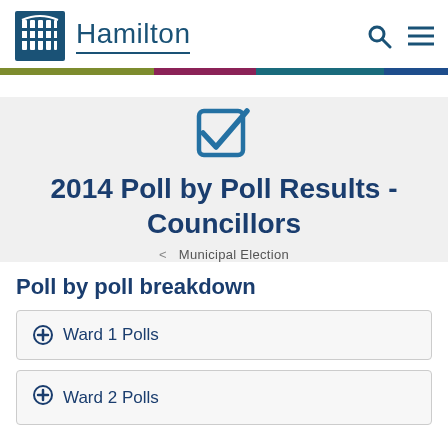Hamilton
[Figure (illustration): Checkbox icon with a checkmark, blue outline style]
2014 Poll by Poll Results - Councillors
< Municipal Election
Poll by poll breakdown
+ Ward 1 Polls
+ Ward 2 Polls